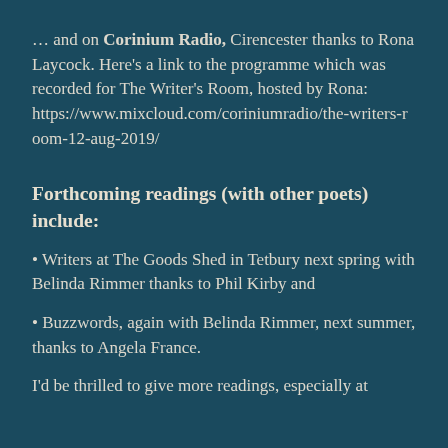… and on Corinium Radio, Cirencester thanks to Rona Laycock. Here's a link to the programme which was recorded for The Writer's Room, hosted by Rona: https://www.mixcloud.com/coriniumradio/the-writers-room-12-aug-2019/
Forthcoming readings (with other poets) include:
• Writers at The Goods Shed in Tetbury next spring with Belinda Rimmer thanks to Phil Kirby and
• Buzzwords, again with Belinda Rimmer, next summer, thanks to Angela France.
I'd be thrilled to give more readings, especially at